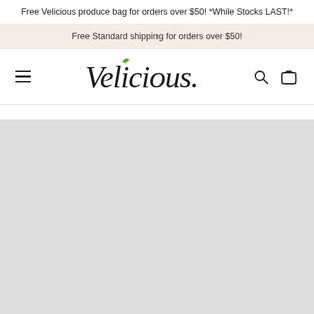Free Velicious produce bag for orders over $50! *While Stocks LAST!*
Free Standard shipping for orders over $50!
[Figure (logo): Velicious brand logo in cursive script with a small green leaf accent]
[Figure (other): Light gray placeholder content area below the navigation bar]